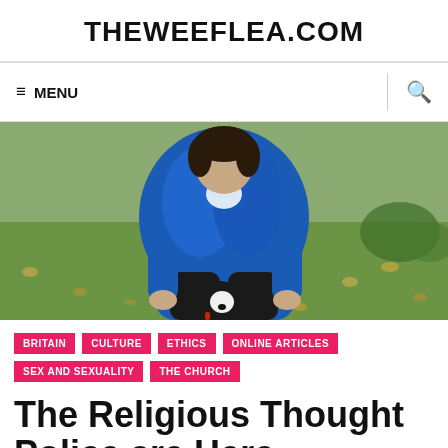THEWEEFLEA.COM
≡ MENU
[Figure (photo): Person in a blue jacket crouching on grass, petting a small black and white dog]
BRITAIN
CULTURE
ETHICS
ONLINE ARTICLES
SEX AND SEXUALITY
THE CHURCH
The Religious Thought Police are Here